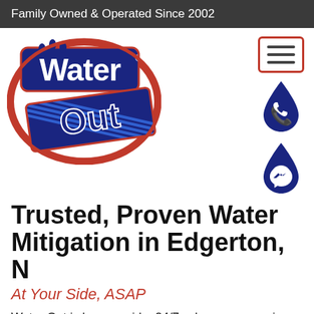Family Owned & Operated Since 2002
[Figure (logo): Water Out logo with red outline and blue text, with water droplets]
[Figure (other): Navigation icons: hamburger menu box in red border, dark blue water drop with phone icon, dark blue water drop with messenger icon]
Trusted, Proven Water Mitigation in Edgerton, IN
At Your Side, ASAP
Water Out is by your side, 24/7, when you experience water damage at your Edgerton, IN area property.